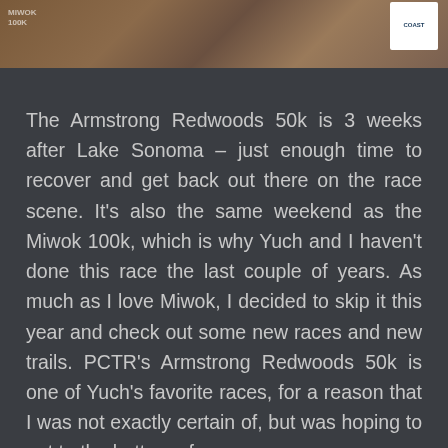[Figure (photo): Partial photo strip at top of page showing rocky trail terrain with runners, with a white logo box in the upper right corner reading 'COAST']
The Armstrong Redwoods 50k is 3 weeks after Lake Sonoma – just enough time to recover and get back out there on the race scene. It's also the same weekend as the Miwok 100k, which is why Yuch and I haven't done this race the last couple of years. As much as I love Miwok, I decided to skip it this year and check out some new races and new trails. PCTR's Armstrong Redwoods 50k is one of Yuch's favorite races, for a reason that I was not exactly certain of, but was hoping to get to the bottom of.
The current 50k course has about 8,500 ft of